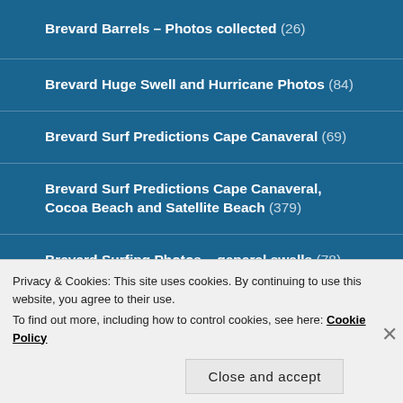Brevard Barrels – Photos collected (26)
Brevard Huge Swell and Hurricane Photos (84)
Brevard Surf Predictions Cape Canaveral (69)
Brevard Surf Predictions Cape Canaveral, Cocoa Beach and Satellite Beach (379)
Brevard Surfing Photos – general swells (78)
Privacy & Cookies: This site uses cookies. By continuing to use this website, you agree to their use.
To find out more, including how to control cookies, see here: Cookie Policy